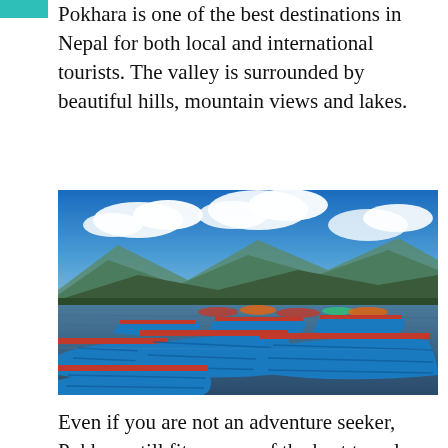Pokhara is one of the best destinations in Nepal for both local and international tourists. The valley is surrounded by beautiful hills, mountain views and lakes.
[Figure (photo): Colorful blue and red wooden boats moored on Phewa Lake in Pokhara, Nepal, with mountains and dramatic blue sky with white clouds in the background.]
Even if you are not an adventure seeker, Pokhara still fits as one of the best travel destinations in Nepal. The mesmerizing